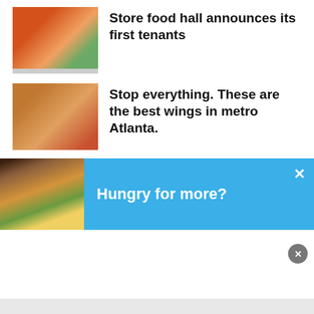[Figure (photo): Thumbnail image of a store exterior with orange accents]
Store food hall announces its first tenants
[Figure (photo): Thumbnail image of chicken wings and carrots on a plate]
Stop everything. These are the best wings in metro Atlanta.
[Figure (photo): Partial blue background section at top of banner area]
[Figure (photo): Blue banner notification with burger thumbnail showing 'Hungry for more?' text]